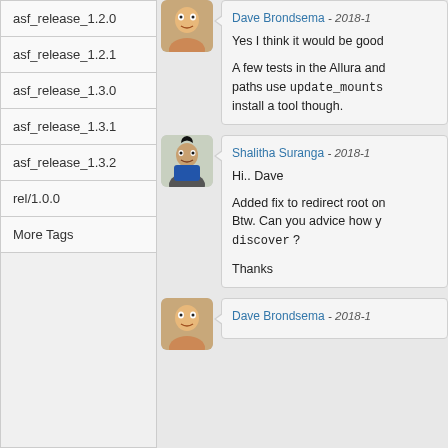asf_release_1.2.0
asf_release_1.2.1
asf_release_1.3.0
asf_release_1.3.1
asf_release_1.3.2
rel/1.0.0
More Tags
Yes I think it would be good
A few tests in the Allura and paths use update_mounts install a tool though.
Shalitha Suranga - 2018-1
Hi.. Dave

Added fix to redirect root on Btw. Can you advice how ye discover ?

Thanks
Dave Brondsema - 2018-1